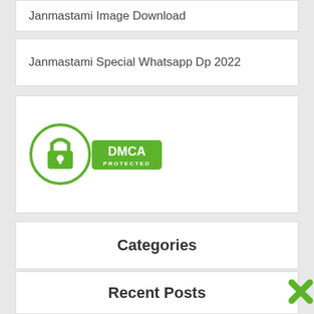Janmastami Special Whatsapp Dp 2022
[Figure (logo): DMCA Protected badge with green padlock icon and green DMCA PROTECTED label]
Categories
Recent Posts